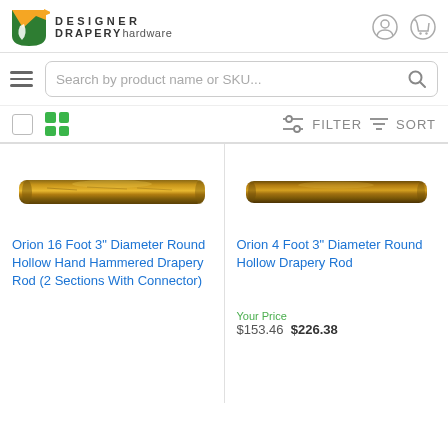[Figure (logo): Designer Drapery Hardware logo with green and yellow shield icon]
[Figure (screenshot): Search bar with text 'Search by product name or SKU...' and a hamburger menu icon on the left and search icon on the right]
[Figure (screenshot): Toolbar with checkbox, grid view icon, filter and sort controls]
[Figure (photo): Gold/brass colored round hollow drapery rod - Orion 16 foot 3 inch diameter hand hammered]
Orion 16 Foot 3" Diameter Round Hollow Hand Hammered Drapery Rod (2 Sections With Connector)
[Figure (photo): Gold/brass colored round hollow drapery rod - Orion 4 foot 3 inch diameter]
Orion 4 Foot 3" Diameter Round Hollow Drapery Rod
Your Price
$153.46  $226.38